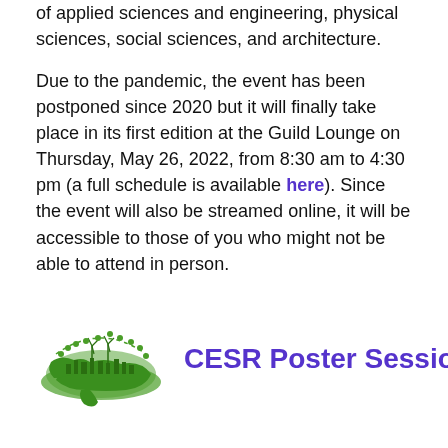of applied sciences and engineering, physical sciences, social sciences, and architecture.
Due to the pandemic, the event has been postponed since 2020 but it will finally take place in its first edition at the Guild Lounge on Thursday, May 26, 2022, from 8:30 am to 4:30 pm (a full schedule is available here). Since the event will also be streamed online, it will be accessible to those of you who might not be able to attend in person.
[Figure (logo): Green globe/earth logo with cityscape and wind turbines silhouette, representing environmental sustainability theme]
CESR Poster Session
...